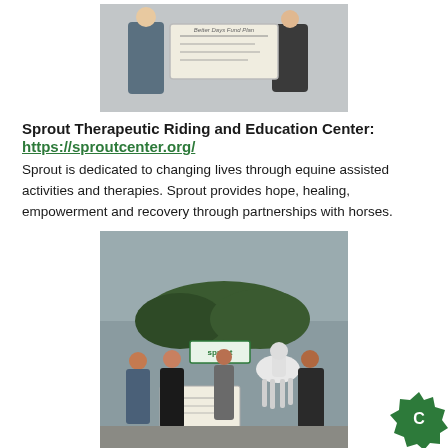[Figure (photo): Two people holding a large ceremonial check, indoor background]
Sprout Therapeutic Riding and Education Center: https://sproutcenter.org/
Sprout is dedicated to changing lives through equine assisted activities and therapies. Sprout provides hope, healing, empowerment and recovery through partnerships with horses.
[Figure (photo): Group of people with a white horse outside a building with Sprout sign, holding a large check]
The Wills Eye Hospital: https://www.willseye.org/
The Wills Eye Hospital in Philadelphia Brady-Shields Endowed...